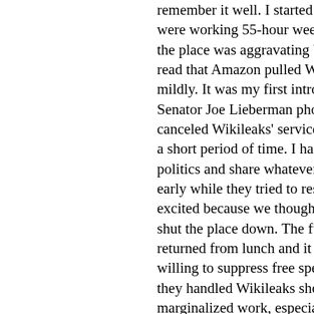remember it well. I started working at were working 55-hour weeks, manage the place was aggravating beyond beli read that Amazon pulled Wikileaks, so mildly. It was my first introduction to Senator Joe Lieberman phoned the rec canceled Wikileaks' service. I was at v a short period of time. I had a radical t politics and share whatever exciting ti early while they tried to restore operat excited because we thought that Anon shut the place down. The fulfillment c returned from lunch and it was just a m willing to suppress free speech and the they handled Wikileaks should alarm a marginalized work, especially because choice for just about everything, and I be tolerated and served after Amazon
KP: Many social justice oriented web contributing writers. (And you have al